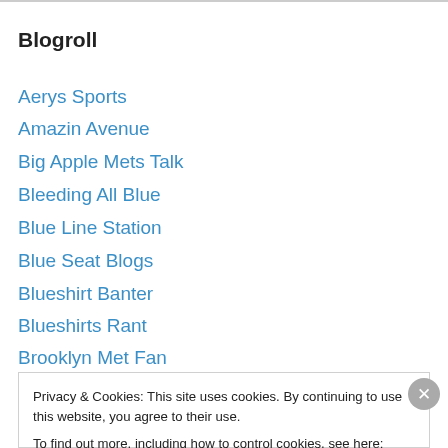Blogroll
Aerys Sports
Amazin Avenue
Big Apple Mets Talk
Bleeding All Blue
Blue Line Station
Blue Seat Blogs
Blueshirt Banter
Blueshirts Rant
Brooklyn Met Fan
Chicago Mets Fan
Privacy & Cookies: This site uses cookies. By continuing to use this website, you agree to their use.
To find out more, including how to control cookies, see here: Cookie Policy
Close and accept